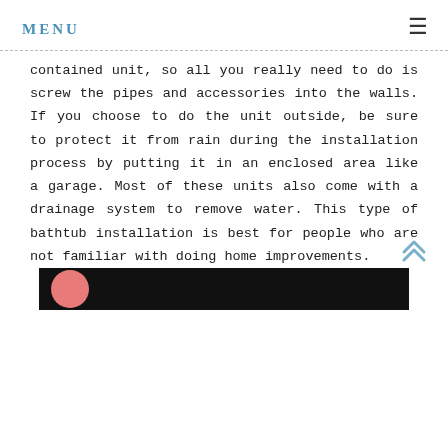MENU
contained unit, so all you really need to do is screw the pipes and accessories into the walls. If you choose to do the unit outside, be sure to protect it from rain during the installation process by putting it in an enclosed area like a garage. Most of these units also come with a drainage system to remove water. This type of bathtub installation is best for people who are not familiar with doing home improvements.
[Figure (photo): Bottom portion of an image with a dark background and a pink/red circular element visible at the left side, partially cropped.]